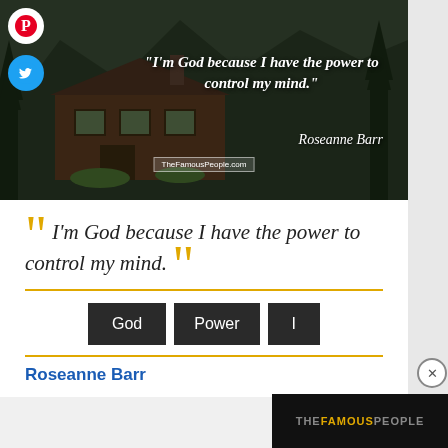[Figure (photo): Hero image of a mountain cabin in a forest with a quote overlaid in white italic text: "I'm God because I have the power to control my mind." with author Roseanne Barr and TheFamousPeople.com watermark. Pinterest and Twitter social share buttons visible on the left.]
"I'm God because I have the power to control my mind."
Roseanne Barr
TheFamousPeople.com
I'm God because I have the power to control my mind.
God
Power
I
Roseanne Barr
[Figure (logo): THEFAMOUSPEOPLE logo text in gray and gold on black background]